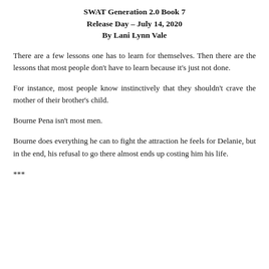SWAT Generation 2.0 Book 7
Release Day – July 14, 2020
By Lani Lynn Vale
There are a few lessons one has to learn for themselves. Then there are the lessons that most people don't have to learn because it's just not done.
For instance, most people know instinctively that they shouldn't crave the mother of their brother's child.
Bourne Pena isn't most men.
Bourne does everything he can to fight the attraction he feels for Delanie, but in the end, his refusal to go there almost ends up costing him his life.
***